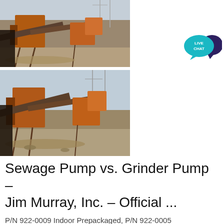[Figure (photo): Industrial heavy equipment / crushing plant machinery with orange metal structures, conveyors, and cranes in background — top photo]
[Figure (photo): Industrial heavy equipment / crushing plant machinery with orange metal structures, conveyors, and cranes in background — bottom photo, similar view]
[Figure (infographic): Live Chat button — teal speech bubble with 'LIVE CHAT' text and dark purple speech bubble behind]
Sewage Pump vs. Grinder Pump – Jim Murray, Inc. – Official ...
P/N 922-0009 Indoor Prepackaged, P/N 922-0005 Outdoor Prepackaged with square guide rail system